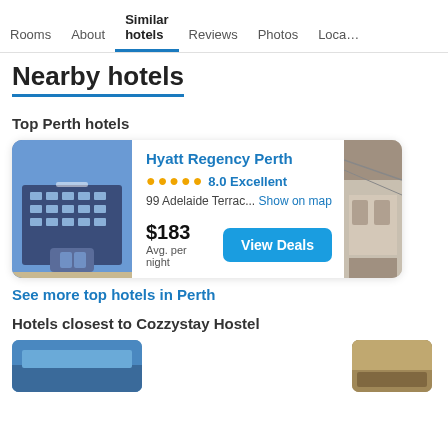Rooms  About  Similar hotels  Reviews  Photos  Loca…
Nearby hotels
Top Perth hotels
[Figure (photo): Photo of Hyatt Regency Perth hotel exterior, modern multi-story building with blue sky]
Hyatt Regency Perth
●●●●● 8.0 Excellent
99 Adelaide Terrac... Show on map
$183 Avg. per night
View Deals
[Figure (photo): Interior photo of hotel, showing modern lounge/lobby area]
See more top hotels in Perth
Hotels closest to Cozzystay Hostel
[Figure (photo): Partial bottom photo, blue tones, hotel exterior]
[Figure (photo): Partial bottom right photo, warm tones]